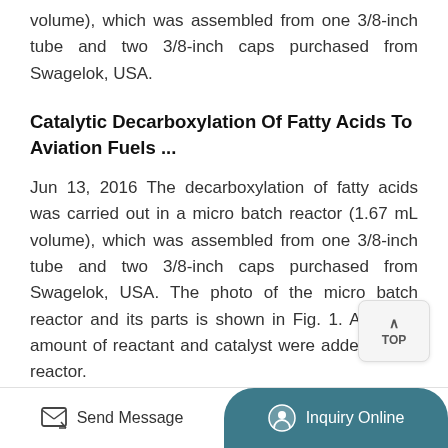volume), which was assembled from one 3/8-inch tube and two 3/8-inch caps purchased from Swagelok, USA.
Catalytic Decarboxylation Of Fatty Acids To Aviation Fuels ...
Jun 13, 2016 The decarboxylation of fatty acids was carried out in a micro batch reactor (1.67 mL volume), which was assembled from one 3/8-inch tube and two 3/8-inch caps purchased from Swagelok, USA. The photo of the micro batch reactor and its parts is shown in Fig. 1. A certain amount of reactant and catalyst were added to the reactor.
Everything You Need To Know About Decarboxylation And
Send Message | Inquiry Online